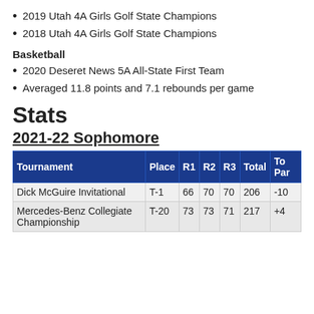2019 Utah 4A Girls Golf State Champions
2018 Utah 4A Girls Golf State Champions
Basketball
2020 Deseret News 5A All-State First Team
Averaged 11.8 points and 7.1 rebounds per game
Stats
2021-22 Sophomore
| Tournament | Place | R1 | R2 | R3 | Total | To Par |
| --- | --- | --- | --- | --- | --- | --- |
| Dick McGuire Invitational | T-1 | 66 | 70 | 70 | 206 | -10 |
| Mercedes-Benz Collegiate Championship | T-20 | 73 | 73 | 71 | 217 | +4 |